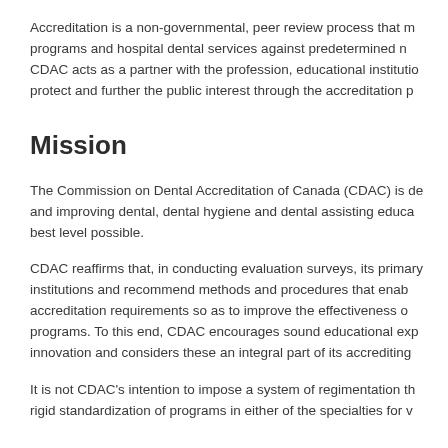Accreditation is a non-governmental, peer review process that measures programs and hospital dental services against predetermined n... CDAC acts as a partner with the profession, educational institutio... protect and further the public interest through the accreditation p...
Mission
The Commission on Dental Accreditation of Canada (CDAC) is de... and improving dental, dental hygiene and dental assisting educa... best level possible.
CDAC reaffirms that, in conducting evaluation surveys, its primary... institutions and recommend methods and procedures that enab... accreditation requirements so as to improve the effectiveness o... programs. To this end, CDAC encourages sound educational exp... innovation and considers these an integral part of its accrediting...
It is not CDAC's intention to impose a system of regimentation th... rigid standardization of programs in either of the specialties for v...